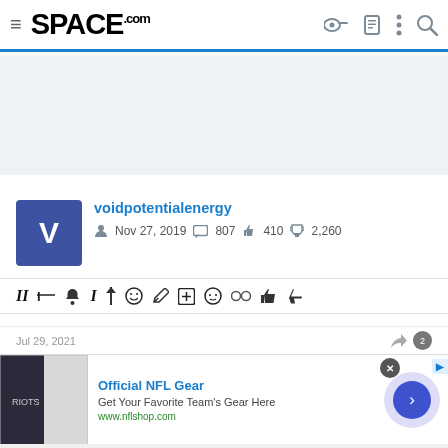SPACE.com navigation bar
[Figure (screenshot): Gray banner/advertisement placeholder area]
voidpotentialenergy
Nov 27, 2019   807   410   2,260
[Figure (screenshot): Toolbar row with various formatting and action icons]
Jul 29, 2021
[Figure (screenshot): Official NFL Gear advertisement banner with jersey image. Get Your Favorite Team's Gear Here. www.nflshop.com]